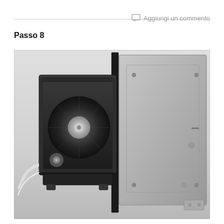Aggiungi un commento
Passo 8
[Figure (photo): Disassembled gaming console components laid on a white surface. On the left is a black internal optical drive mechanism with fan and ribbon cables visible. On the right is the silver/grey metal chassis shell of the console showing screw holes and internal structural detail.]